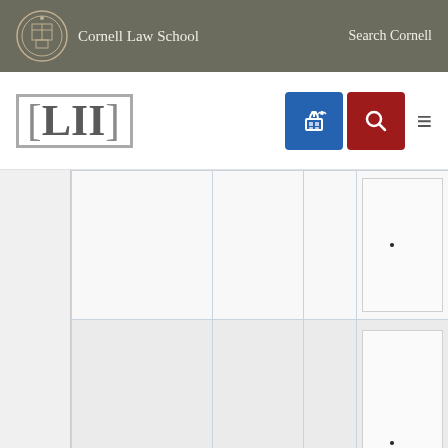Cornell Law School  |  Search Cornell
[Figure (logo): LII Legal Information Institute logo with Cornell Law School branding, navigation icons including a gift icon (blue), search icon (red), and hamburger menu]
| Section | Type | Number | Content |
| --- | --- | --- | --- |
|  |  |  | • |
| 101-108 | Rev. T. | 32 | •
• |
| 109 | Rev. T. | 32 | •
• |